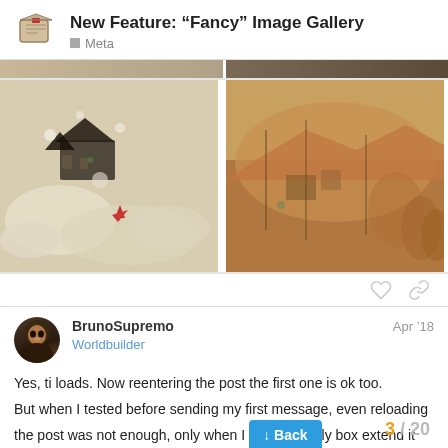New Feature: “Fancy” Image Gallery
Meta
[Figure (photo): Forum post image gallery showing two artistic illustrations side by side: left image depicts a fantastical scene with buildings among clouds and a red maple leaf, right image shows a landscape with orange-red rocky terrain]
BrunoSupremo
Worldbuilder
Apr ’18
Yes, ti loads. Now reentering the post the first one is ok too.
But when I tested before sending my first message, even reloading the post was not enough, only when I box extend it would display the grid.
↓ Back
3 / 20